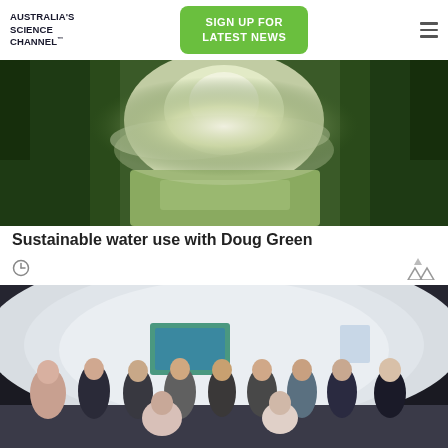AUSTRALIA'S SCIENCE CHANNEL™
[Figure (photo): Aerial view of a river or waterway surrounded by lush green forest with mist or fog]
Sustainable water use with Doug Green
[Figure (photo): Group photo of approximately 11 people standing in a television studio with a curved white set background]